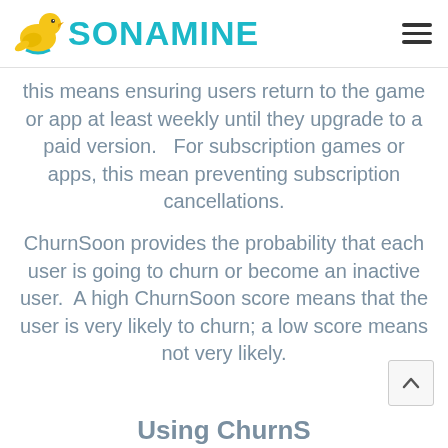SONAMINE
this means ensuring users return to the game or app at least weekly until they upgrade to a paid version.   For subscription games or apps, this mean preventing subscription cancellations.
ChurnSoon provides the probability that each user is going to churn or become an inactive user.  A high ChurnSoon score means that the user is very likely to churn; a low score means not very likely.
Using ChurnS...